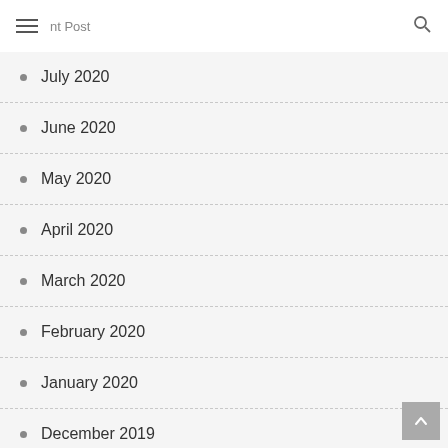≡ [Page] 🔍
July 2020
June 2020
May 2020
April 2020
March 2020
February 2020
January 2020
December 2019
November 2019
October 2019